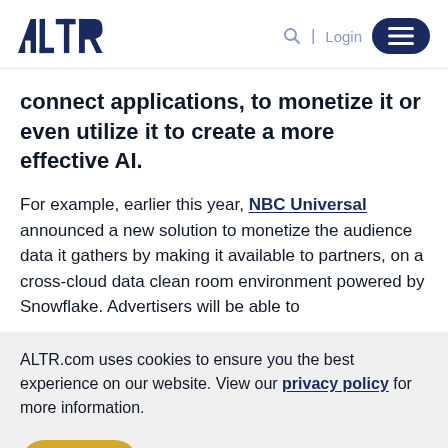ALTR [logo] | Q | Login [menu]
connect applications, to monetize it or even utilize it to create a more effective AI.
For example, earlier this year, NBC Universal announced a new solution to monetize the audience data it gathers by making it available to partners, on a cross-cloud data clean room environment powered by Snowflake. Advertisers will be able to
ALTR.com uses cookies to ensure you the best experience on our website. View our privacy policy for more information.
Got It